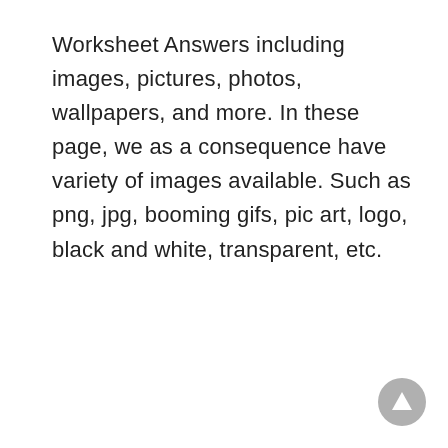Worksheet Answers including images, pictures, photos, wallpapers, and more. In these page, we as a consequence have variety of images available. Such as png, jpg, booming gifs, pic art, logo, black and white, transparent, etc.